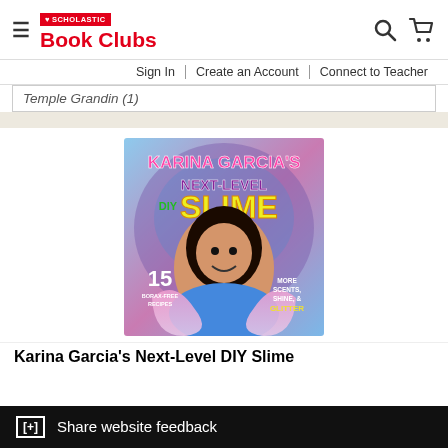Scholastic Book Clubs
Sign In | Create an Account | Connect to Teacher
Temple Grandin (1)
[Figure (photo): Book cover of Karina Garcia's Next-Level DIY Slime featuring the author holding pink glittery slime. Text reads: KARINA GARCIA'S NEXT-LEVEL DIY SLIME, 15 Borax-Free Recipes, MORE SCENTS, SHINE, & GLITTER]
Karina Garcia's Next-Level DIY Slime
[+] Share website feedback